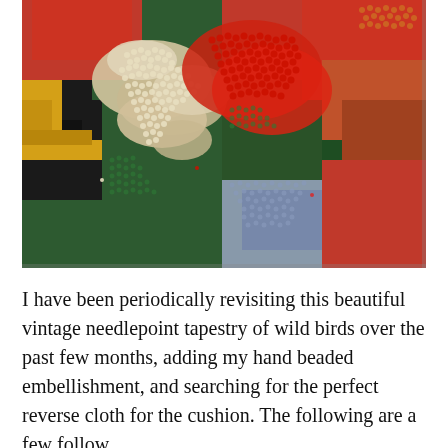[Figure (photo): Close-up photograph of a colorful vintage needlepoint tapestry featuring wild birds, with hand-beaded embellishments in pearl/gold beads over a richly colored background of red, green, yellow, black, orange, gray-blue sections forming a bird motif.]
I have been periodically revisiting this beautiful vintage needlepoint tapestry of wild birds over the past few months, adding my hand beaded embellishment, and searching for the perfect reverse cloth for the cushion. The following are a few follow...